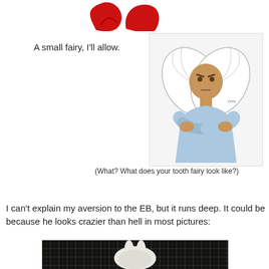[Figure (illustration): Partial red decorative script/logo at top of page, cropped]
A small fairy, I'll allow.
[Figure (illustration): Drawing of a very muscular man with small white fairy wings crossed-arms pose, wearing light blue outfit]
(What? What does your tooth fairy look like?)
I can't explain my aversion to the EB, but it runs deep. It could be because he looks crazier than hell in most pictures:
[Figure (photo): Photo of what appears to be a white rabbit or Easter Bunny costume/figure against a dark background with grid-like pattern]